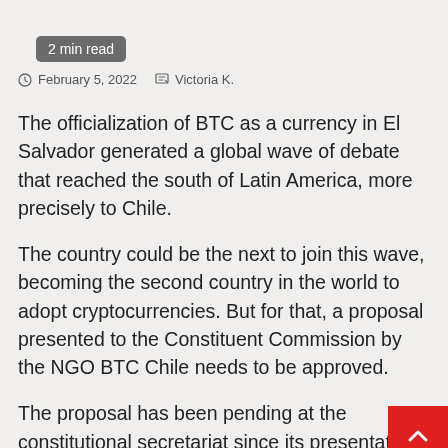2 min read
February 5, 2022   Victoria K.
The officialization of BTC as a currency in El Salvador generated a global wave of debate that reached the south of Latin America, more precisely to Chile.
The country could be the next to join this wave, becoming the second country in the world to adopt cryptocurrencies. But for that, a proposal presented to the Constituent Commission by the NGO BTC Chile needs to be approved.
The proposal has been pending at the constitutional secretariat since its presentation in December 2021. In addition, there is still no date set for its discussion in plenary.